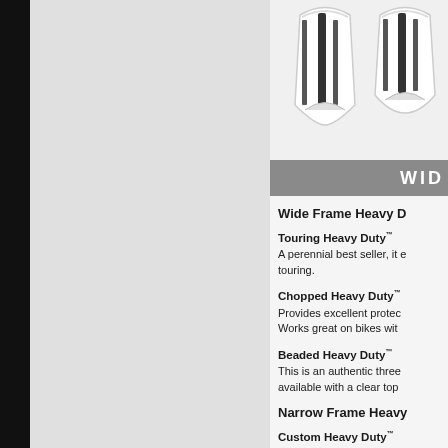[Figure (photo): Two windshield products shown from above on white background]
WID
Wide Frame Heavy Du
Touring Heavy Duty™ — A perennial best seller, it e touring.
Chopped Heavy Duty™ — Provides excellent protec Works great on bikes wit
Beaded Heavy Duty™ — This is an authentic three available with a clear top
Narrow Frame Heavy
Custom Heavy Duty™ — This is one of our most p want to tour longer dista